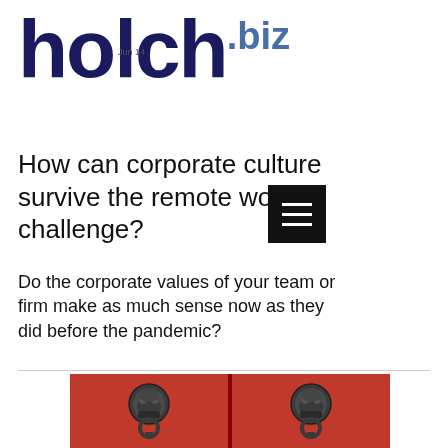holch.biz
How can corporate culture survive the remote work challenge?
Do the corporate values of your team or firm make as much sense now as they did before the pandemic?
[Figure (photo): Red double doors with ornate dark metal lion head door knockers, viewed head-on showing both left and right door panels]